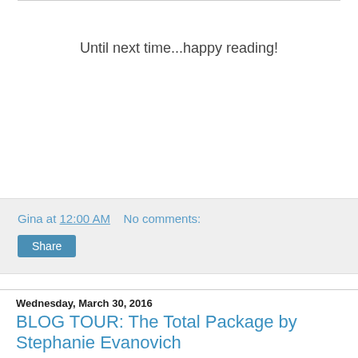Until next time...happy reading!
Gina at 12:00 AM   No comments:
Share
Wednesday, March 30, 2016
BLOG TOUR: The Total Package by Stephanie Evanovich
HI there!
Welcome back to Satisfaction for Insatiable Readers...the site that aims to please the reader in you with something